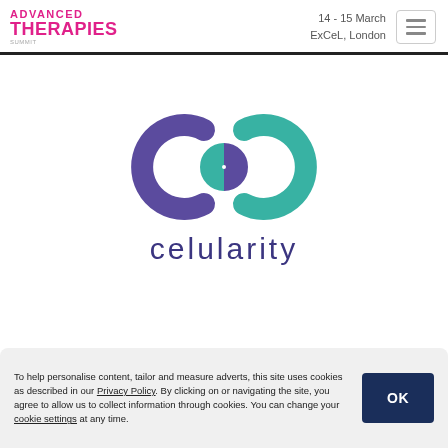ADVANCED THERAPIES | 14 - 15 March | ExCeL, London
[Figure (logo): Celularity logo: an infinity-symbol made of two interlocking C shapes, left C in purple, right C in teal, with the wordmark 'celularity' in dark purple below]
To help personalise content, tailor and measure adverts, this site uses cookies as described in our Privacy Policy. By clicking on or navigating the site, you agree to allow us to collect information through cookies. You can change your cookie settings at any time.